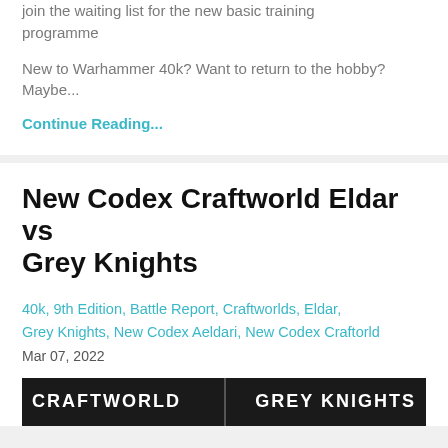join the waiting list for the new basic training programme
New to Warhammer 40k? Want to return to the hobby? Maybe...
Continue Reading...
New Codex Craftworld Eldar vs Grey Knights
40k, 9th Edition, Battle Report, Craftworlds, Eldar, Grey Knights, New Codex Aeldari, New Codex Craftorld
Mar 07, 2022
[Figure (photo): Dark banner image split in two halves — left reads CRAFTWORLD and right reads GREY KNIGHTS in white bold uppercase text on a dark background]